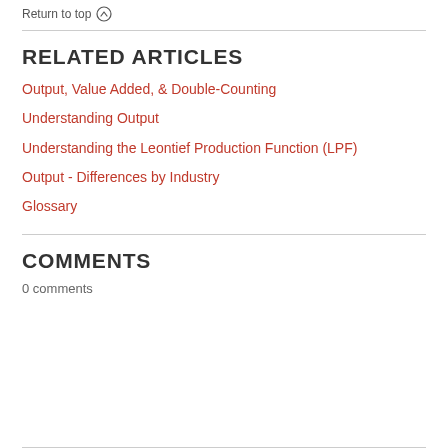Return to top ↑
RELATED ARTICLES
Output, Value Added, & Double-Counting
Understanding Output
Understanding the Leontief Production Function (LPF)
Output - Differences by Industry
Glossary
COMMENTS
0 comments